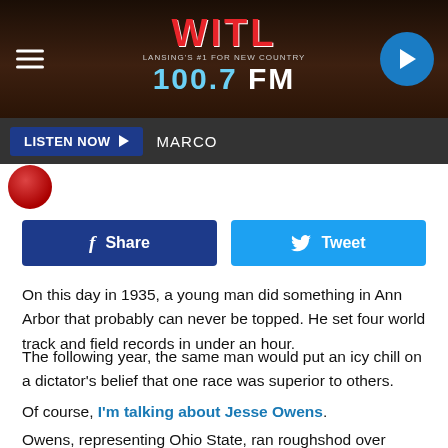WITL 100.7 FM — Lansing's #1 For New Country
LISTEN NOW ▶ MARCO
[Figure (logo): WITL 100.7 FM radio station logo with hamburger menu and play button]
Share
Tweet
On this day in 1935, a young man did something in Ann Arbor that probably can never be topped. He set four world track and field records in under an hour.
The following year, the same man would put an icy chill on a dictator's belief that one race was superior to others.
Of course, I'm talking about Jesse Owens.
Owens, representing Ohio State, ran roughshod over the...